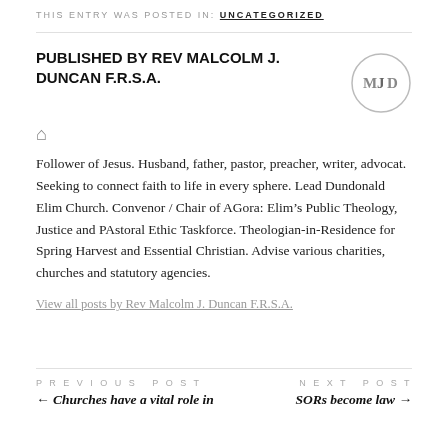THIS ENTRY WAS POSTED IN: UNCATEGORIZED
PUBLISHED BY REV MALCOLM J. DUNCAN F.R.S.A.
[Figure (logo): Circular logo with letters MJD]
Follower of Jesus. Husband, father, pastor, preacher, writer, advocat. Seeking to connect faith to life in every sphere. Lead Dundonald Elim Church. Convenor / Chair of AGora: Elim's Public Theology, Justice and PAstoral Ethic Taskforce. Theologian-in-Residence for Spring Harvest and Essential Christian. Advise various charities, churches and statutory agencies.
View all posts by Rev Malcolm J. Duncan F.R.S.A.
PREVIOUS POST ← Churches have a vital role in
NEXT POST SORs become law →